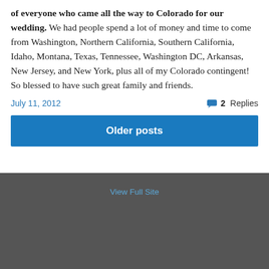of everyone who came all the way to Colorado for our wedding. We had people spend a lot of money and time to come from Washington, Northern California, Southern California, Idaho, Montana, Texas, Tennessee, Washington DC, Arkansas, New Jersey, and New York, plus all of my Colorado contingent! So blessed to have such great family and friends.
July 11, 2012
2 Replies
Older posts
View Full Site